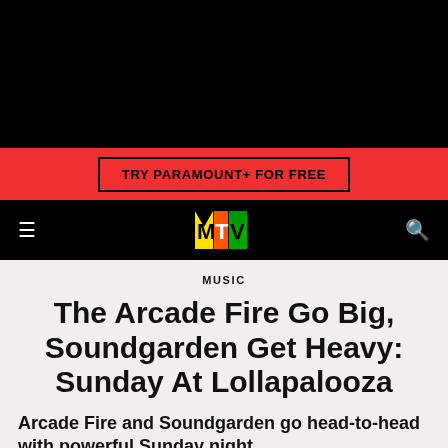[Figure (screenshot): Black header area at top of MTV website page]
TRY PARAMOUNT+ FOR FREE
[Figure (logo): MTV logo in navigation bar with hamburger menu and search icon]
MUSIC
The Arcade Fire Go Big, Soundgarden Get Heavy: Sunday At Lollapalooza
Arcade Fire and Soundgarden go head-to-head with powerful Sunday night